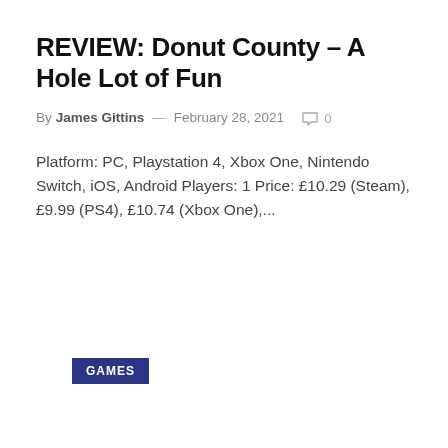REVIEW: Donut County – A Hole Lot of Fun
By James Gittins — February 28, 2021  ○ 0
Platform: PC, Playstation 4, Xbox One, Nintendo Switch, iOS, Android Players: 1 Price: £10.29 (Steam), £9.99 (PS4), £10.74 (Xbox One),...
GAMES